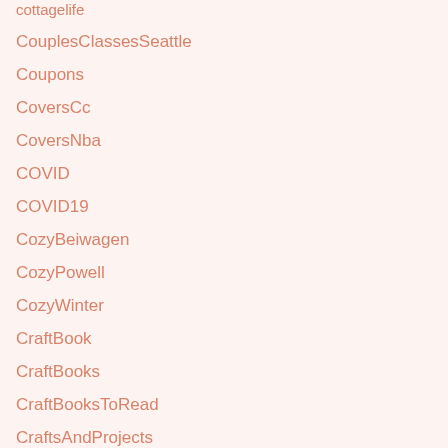cottagelife
CouplesClassesSeattle
Coupons
CoversCc
CoversNba
COVID
COVID19
CozyBeiwagen
CozyPowell
CozyWinter
CraftBook
CraftBooks
CraftBooksToRead
CraftsAndProjects
CraftWhiskey